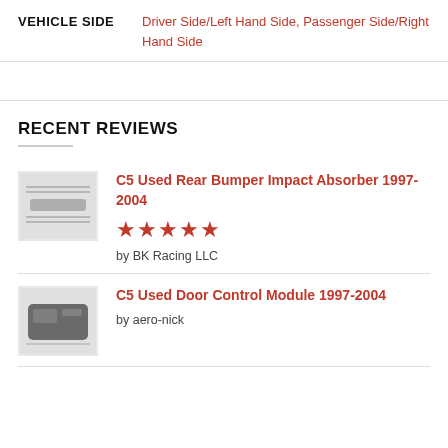| VEHICLE SIDE |  |
| --- | --- |
| VEHICLE SIDE | Driver Side/Left Hand Side, Passenger Side/Right Hand Side |
RECENT REVIEWS
C5 Used Rear Bumper Impact Absorber 1997-2004
★★★★★
by BK Racing LLC
C5 Used Door Control Module 1997-2004
by aero-nick